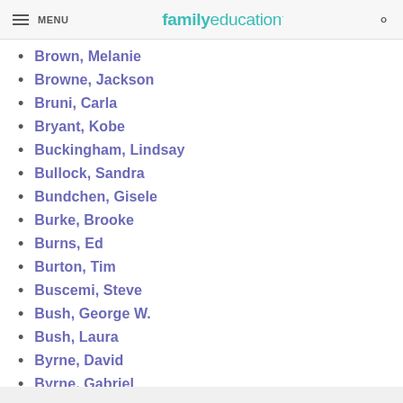MENU | familyeducation
Brown, Melanie
Browne, Jackson
Bruni, Carla
Bryant, Kobe
Buckingham, Lindsay
Bullock, Sandra
Bundchen, Gisele
Burke, Brooke
Burns, Ed
Burton, Tim
Buscemi, Steve
Bush, George W.
Bush, Laura
Byrne, David
Byrne, Gabriel